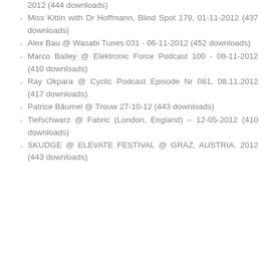Kevin Saunderson @ Trilogy Presents (New York, Usa), 18-08-2012 (444 downloads)
Miss Kittin with Dr Hoffmann, Blind Spot 179, 01-11-2012 (437 downloads)
Alex Bau @ Wasabi Tunes 031 - 06-11-2012 (452 downloads)
Marco Bailey @ Elektronic Force Podcast 100 - 08-11-2012 (410 downloads)
Ray Okpara @ Cyclic Podcast Episode Nr 081, 08.11.2012 (417 downloads)
Patrice Bäumel @ Trouw 27-10-12 (443 downloads)
Tiefschwarz @ Fabric (London, England) – 12-05-2012 (410 downloads)
SKUDGE @ ELEVATE FESTIVAL @ GRAZ, AUSTRIA. 2012 (443 downloads)